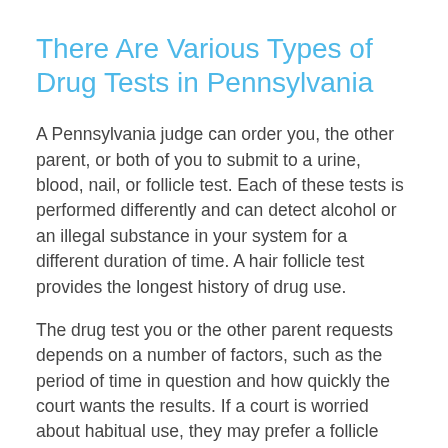There Are Various Types of Drug Tests in Pennsylvania
A Pennsylvania judge can order you, the other parent, or both of you to submit to a urine, blood, nail, or follicle test. Each of these tests is performed differently and can detect alcohol or an illegal substance in your system for a different duration of time. A hair follicle test provides the longest history of drug use.
The drug test you or the other parent requests depends on a number of factors, such as the period of time in question and how quickly the court wants the results. If a court is worried about habitual use, they may prefer a follicle test, which can detect drug use over the course of a long